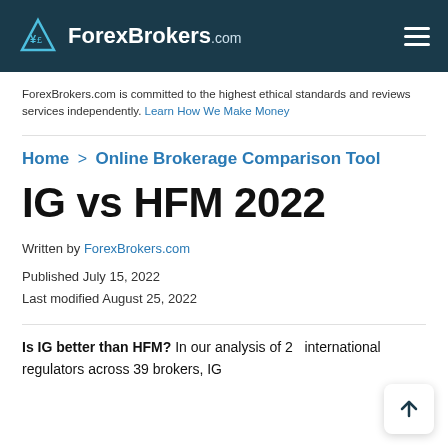ForexBrokers.com
ForexBrokers.com is committed to the highest ethical standards and reviews services independently. Learn How We Make Money
Home > Online Brokerage Comparison Tool
IG vs HFM 2022
Written by ForexBrokers.com
Published July 15, 2022
Last modified August 25, 2022
Is IG better than HFM? In our analysis of 2... international regulators across 39 brokers, IG